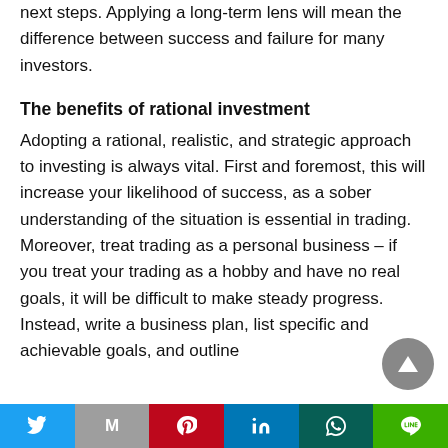next steps. Applying a long-term lens will mean the difference between success and failure for many investors.
The benefits of rational investment
Adopting a rational, realistic, and strategic approach to investing is always vital. First and foremost, this will increase your likelihood of success, as a sober understanding of the situation is essential in trading. Moreover, treat trading as a personal business – if you treat your trading as a hobby and have no real goals, it will be difficult to make steady progress. Instead, write a business plan, list specific and achievable goals, and outline
Twitter | Gmail | Pinterest | LinkedIn | WhatsApp | Line